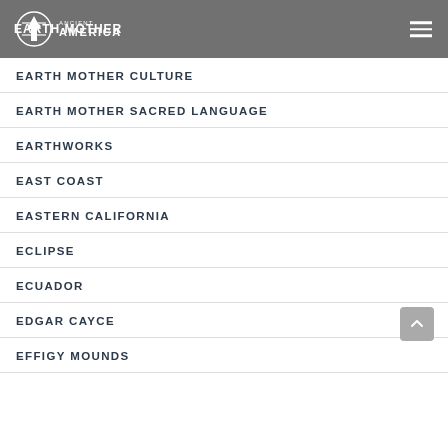EARTH MOTHER | Ancient America
EARTH MOTHER CULTURE
EARTH MOTHER SACRED LANGUAGE
EARTHWORKS
EAST COAST
EASTERN CALIFORNIA
ECLIPSE
ECUADOR
EDGAR CAYCE
EFFIGY MOUNDS